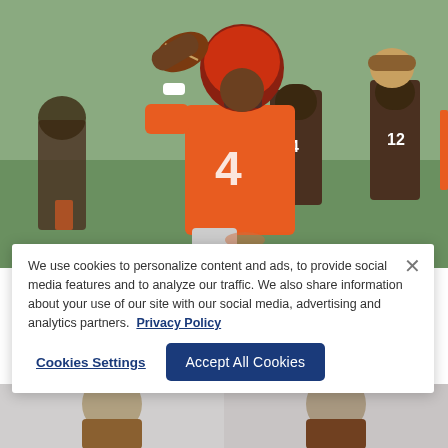[Figure (photo): NFL quarterback wearing orange Cleveland Browns jersey #4 with brown helmet, winding up to throw a football during practice. Other players in brown jerseys visible in background on a green field.]
With Watson on board, Browns bracing for more boos on road
By Jeff Schudel, 2022-05-25 PM EDT
We use cookies to personalize content and ads, to provide social media features and to analyze our traffic. We also share information about your use of our site with our social media, advertising and analytics partners. Privacy Policy
[Figure (photo): Partially visible bottom strip showing two player portraits, cut off at bottom of page.]